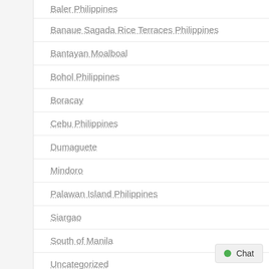Baler Philippines
Banaue Sagada Rice Terraces Philippines
Bantayan Moalboal
Bohol Philippines
Boracay
Cebu Philippines
Dumaguete
Mindoro
Palawan Island Philippines
Siargao
South of Manila
Uncategorized